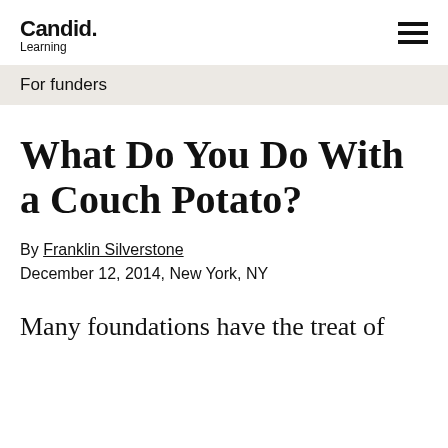Candid. Learning
For funders
What Do You Do With a Couch Potato?
By Franklin Silverstone
December 12, 2014, New York, NY
Many foundations have the treat of